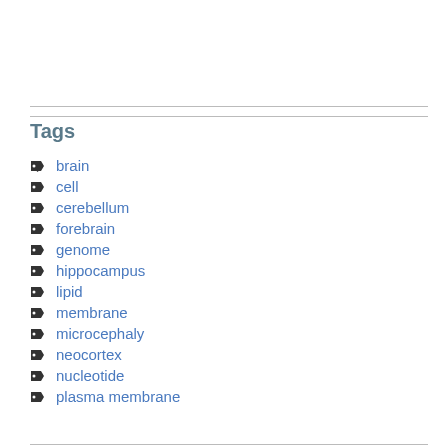Tags
brain
cell
cerebellum
forebrain
genome
hippocampus
lipid
membrane
microcephaly
neocortex
nucleotide
plasma membrane